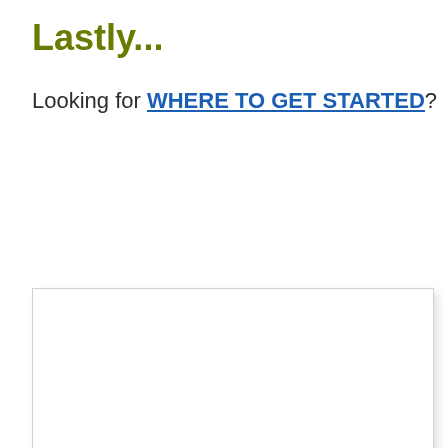Lastly...
Looking for WHERE TO GET STARTED?
[Figure (other): A white rectangular panel with a drop shadow, partially visible at the bottom of the page.]